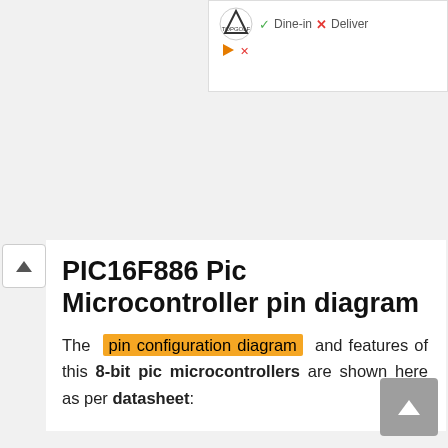[Figure (screenshot): Topgolf advertisement banner with logo, checkmark Dine-in and X Deliver labels]
PIC16F886 Pic Microcontroller pin diagram
The pin configuration diagram and features of this 8-bit pic microcontrollers are shown here as per datasheet: